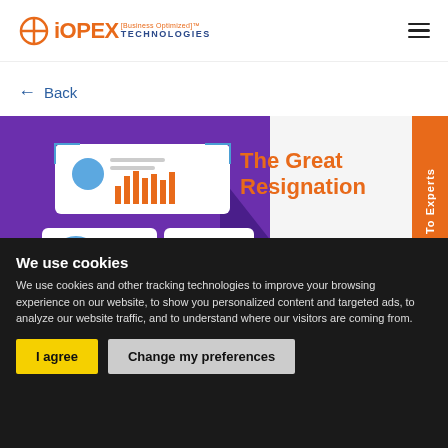iOPEX [Business Optimized]™ TECHNOLOGIES
← Back
[Figure (screenshot): iOPEX Technologies website screenshot showing a blog post page with a purple illustration of dashboard analytics interfaces and a person, partially visible title 'The Great Resignation', with an orange side tab reading 'Talk To Experts', and a cookie consent overlay at the bottom.]
The Great Resignation
We use cookies
We use cookies and other tracking technologies to improve your browsing experience on our website, to show you personalized content and targeted ads, to analyze our website traffic, and to understand where our visitors are coming from.
I agree
Change my preferences